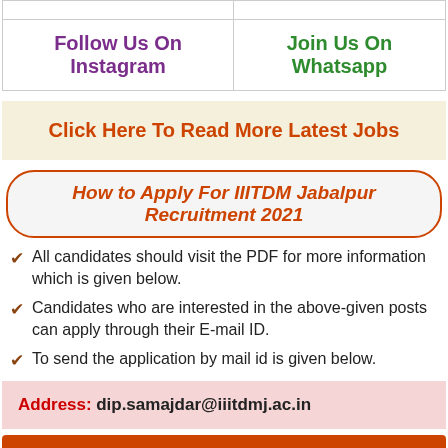| Follow Us On Instagram | Join Us On Whatsapp |
| --- | --- |
Click Here To Read More Latest Jobs
How to Apply For IIITDM Jabalpur Recruitment 2021
All candidates should visit the PDF for more information which is given below.
Candidates who are interested in the above-given posts can apply through their E-mail ID.
To send the application by mail id is given below.
Address: dip.samajdar@iiitdmj.ac.in